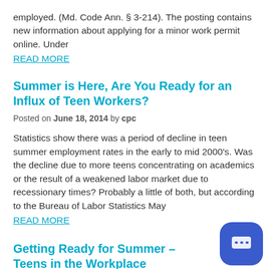employed.  (Md. Code Ann. § 3-214). The posting contains new information about applying for a minor work permit online. Under
READ MORE
Summer is Here, Are You Ready for an Influx of Teen Workers?
Posted on June 18, 2014 by cpc
Statistics show there was a period of decline in teen summer employment rates in the early to mid 2000's. Was the decline due to more teens concentrating on academics or the result of a weakened labor market due to recessionary times?  Probably a little of both, but according to the Bureau of Labor Statistics May
READ MORE
Getting Ready for Summer – Teens in the Workplace